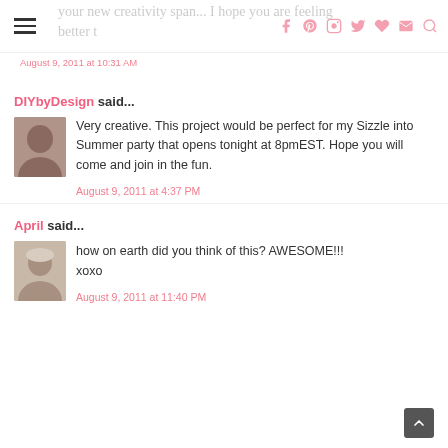hamburger menu + social icons
August 9, 2011 at 10:31 AM
DIYbyDesign said... Very creative. This project would be perfect for my Sizzle into Summer party that opens tonight at 8pmEST. Hope you will come and join in the fun.
August 9, 2011 at 4:37 PM
April said... how on earth did you think of this? AWESOME!!! xoxo
August 9, 2011 at 11:40 PM